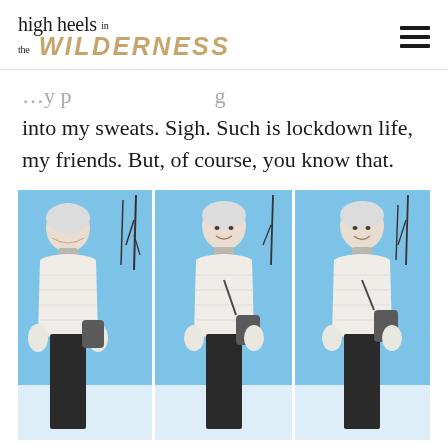high heels in the WILDERNESS
into my sweats. Sigh. Such is lockdown life, my friends. But, of course, you know that.
[Figure (photo): Three-panel photo strip showing an older woman with short white hair wearing a white puffer jacket, grey turtleneck, dark pants, and white mittens, standing outdoors in a winter snowy setting with bare trees and blue sky.]